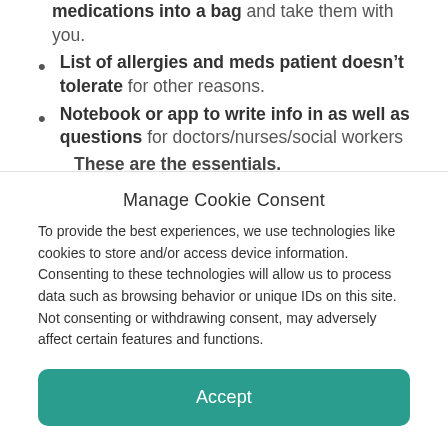medications into a bag and take them with you.
List of allergies and meds patient doesn't tolerate for other reasons.
Notebook or app to write info in as well as questions for doctors/nurses/social workers
These are the essentials.
Manage Cookie Consent
To provide the best experiences, we use technologies like cookies to store and/or access device information. Consenting to these technologies will allow us to process data such as browsing behavior or unique IDs on this site. Not consenting or withdrawing consent, may adversely affect certain features and functions.
Accept